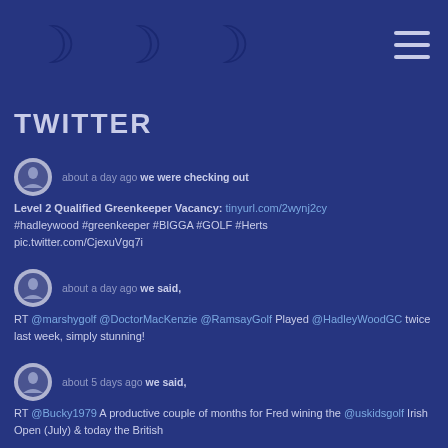[Figure (illustration): Three crescent moon shapes in navy blue on dark blue background, with a hamburger menu icon in the top right]
TWITTER
about a day ago we were checking out Level 2 Qualified Greenkeeper Vacancy: tinyurl.com/2wynj2cy #hadleywood #greenkeeper #BIGGA #GOLF #Herts pic.twitter.com/CjexuVgq7i
about a day ago we said, RT @marshygolf @DoctorMacKenzie @RamsayGolf Played @HadleyWoodGC twice last week, simply stunning!
about 5 days ago we said, RT @Bucky1979 A productive couple of months for Fred wining the @uskidsgolf Irish Open (July) & today the British